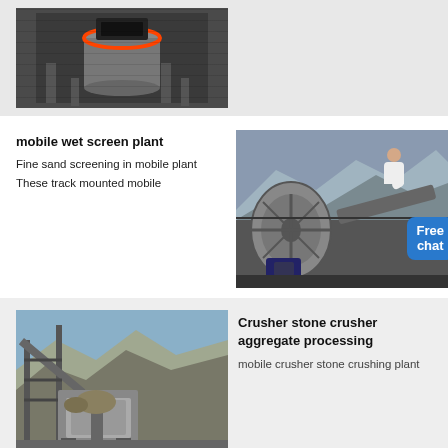[Figure (photo): Industrial cone crusher or grinding mill machine, gray metallic, viewed from front in factory setting]
mobile wet screen plant
Fine sand screening in mobile plant
These track mounted mobile
[Figure (photo): Mobile wet screening plant with large rotating drum/wheel components, industrial machinery at a quarry site. Free chat button overlay with woman figure.]
[Figure (photo): Stone crusher aggregate processing plant at a quarry, showing conveyor structures and crushing machinery against rocky hillside]
Crusher stone crusher aggregate processing
mobile crusher stone crushing plant